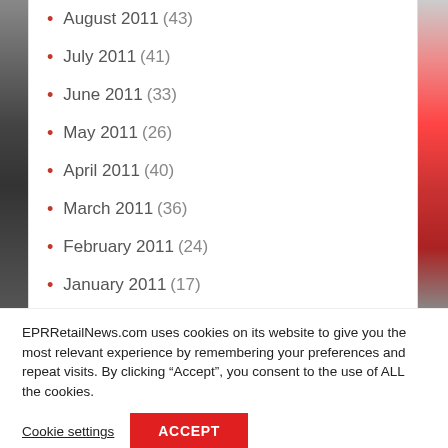August 2011 (43)
July 2011 (41)
June 2011 (33)
May 2011 (26)
April 2011 (40)
March 2011 (36)
February 2011 (24)
January 2011 (17)
EPRRetailNews.com uses cookies on its website to give you the most relevant experience by remembering your preferences and repeat visits. By clicking “Accept”, you consent to the use of ALL the cookies.
Cookie settings
ACCEPT